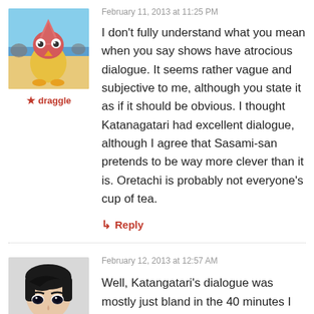February 11, 2013 at 11:25 PM
[Figure (illustration): Avatar image of a cartoon Patrick Star-like character (pink/red bird creature) on a beach background, username draggle]
draggle
I don't fully understand what you mean when you say shows have atrocious dialogue. It seems rather vague and subjective to me, although you state it as if it should be obvious. I thought Katanagatari had excellent dialogue, although I agree that Sasami-san pretends to be way more clever than it is. Oretachi is probably not everyone's cup of tea.
Reply
February 12, 2013 at 12:57 AM
[Figure (illustration): Avatar image of an anime-style dark-haired young male character with pale skin and dark eyes]
Well, Katangatari's dialogue was mostly just bland in the 40 minutes I